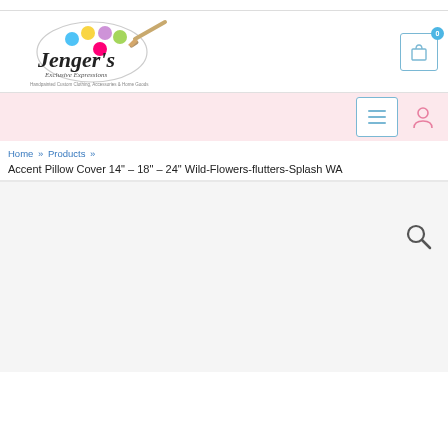[Figure (logo): Jenger's Exclusive Expressions logo with artist palette and paintbrush, colorful paint blobs, text reading Handpainted Custom Clothing, Accessories & Home Goods]
[Figure (other): Shopping cart icon with badge showing 0]
[Figure (other): Navigation menu button (hamburger icon) and user account icon]
Home » Products »
Accent Pillow Cover 14" – 18" – 24" Wild-Flowers-flutters-Splash WA
[Figure (other): Search icon (magnifying glass) on light gray background]